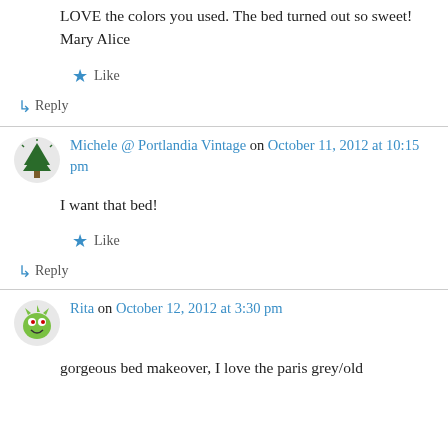LOVE the colors you used. The bed turned out so sweet!
Mary Alice
★ Like
↳ Reply
Michele @ Portlandia Vintage on October 11, 2012 at 10:15 pm
I want that bed!
★ Like
↳ Reply
Rita on October 12, 2012 at 3:30 pm
gorgeous bed makeover, I love the paris grey/old